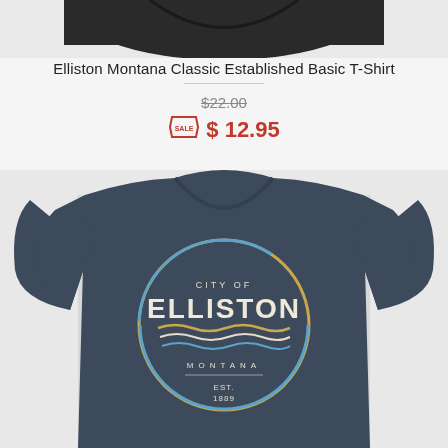[Figure (photo): Top portion of a dark heather/black t-shirt product photo on light gray background]
Elliston Montana Classic Established Basic T-Shirt
$22.00 (strikethrough original price)
$ 12.95 (sale price with sale tag icon)
[Figure (photo): Navy heather t-shirt with circular logo reading CITY OF ELLISTON MONTANA EST. 1889 with wave design, on light gray background]